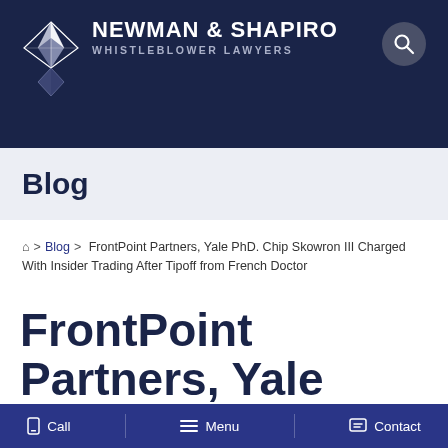[Figure (logo): Newman & Shapiro Whistleblower Lawyers logo with geometric diamond/star icon on dark navy background]
Blog
Home > Blog > FrontPoint Partners, Yale PhD. Chip Skowron III Charged With Insider Trading After Tipoff from French Doctor
FrontPoint Partners, Yale PhD. Chip Skowron III Charged
Call  Menu  Contact